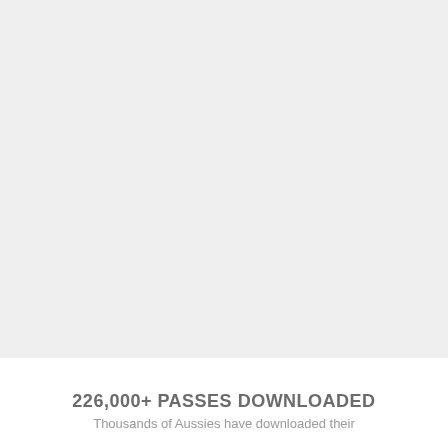[Figure (photo): Large light grey rectangular image area, appears to be a mostly blank or faded image taking up the top portion of the page.]
226,000+ PASSES DOWNLOADED
Thousands of Aussies have downloaded their